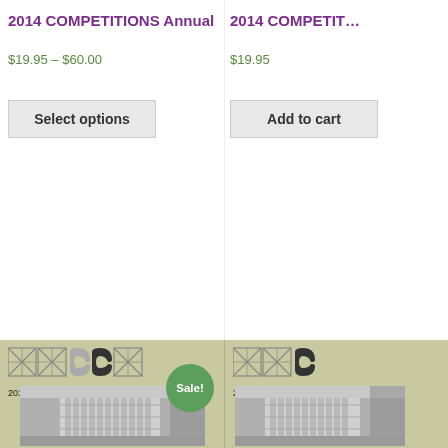2014 COMPETITIONS Annual
$19.95 – $60.00
Select options
2014 COMPETITIONS Annual
$19.95
Add to cart
[Figure (photo): 2015 COMPETITIONS Annual book cover with architectural logo and black-and-white building photo, Sale! badge]
[Figure (photo): 2015 COMPETITIONS Annual book cover (partial, right side) with architectural logo and building photo]